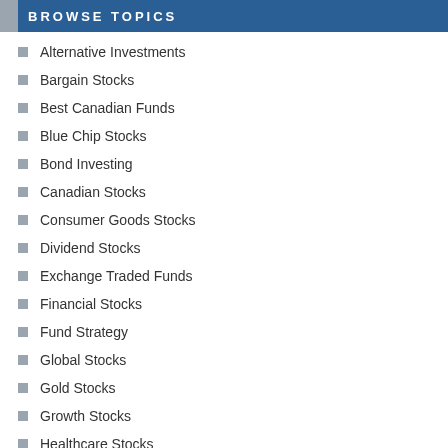BROWSE TOPICS
Alternative Investments
Bargain Stocks
Best Canadian Funds
Blue Chip Stocks
Bond Investing
Canadian Stocks
Consumer Goods Stocks
Dividend Stocks
Exchange Traded Funds
Financial Stocks
Fund Strategy
Global Stocks
Gold Stocks
Growth Stocks
Healthcare Stocks
Investment Strategy
Manufacturing Stocks